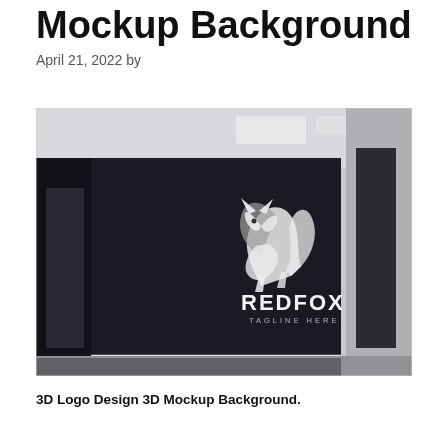Mockup Background
April 21, 2022 by
[Figure (photo): 3D rendered office reception area with a dark black wall featuring a silver 3D REDFOX logo with a fox illustration and tagline 'TAGLINE HERE'. The room has white ceiling lights and a glossy floor with light accent at the wall base.]
3D Logo Design 3D Mockup Background.